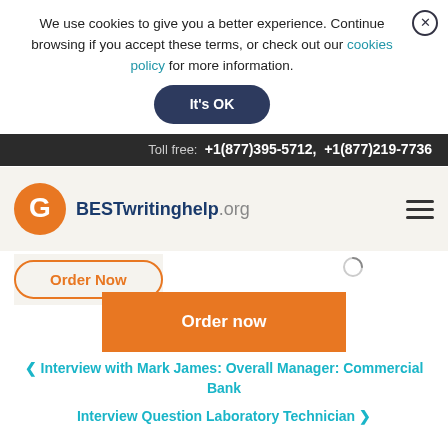We use cookies to give you a better experience. Continue browsing if you accept these terms, or check out our cookies policy for more information.
It's OK
Toll free: +1(877)395-5712, +1(877)219-7736
[Figure (logo): BESTwritinghelp.org logo with orange circular G icon]
Order Now
Order now
< Interview with Mark James: Overall Manager: Commercial Bank
Interview Question Laboratory Technician >